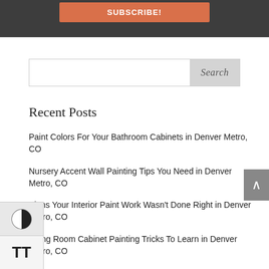[Figure (screenshot): Dark gray banner at top with an orange SUBSCRIBE button]
[Figure (screenshot): Search input field with a Search button on the right]
Recent Posts
Paint Colors For Your Bathroom Cabinets in Denver Metro, CO
Nursery Accent Wall Painting Tips You Need in Denver Metro, CO
Signs Your Interior Paint Work Wasn't Done Right in Denver Metro, CO
Living Room Cabinet Painting Tricks To Learn in Denver Metro, CO
Laundry Room Painting Mistakes To Avoid in Denver…